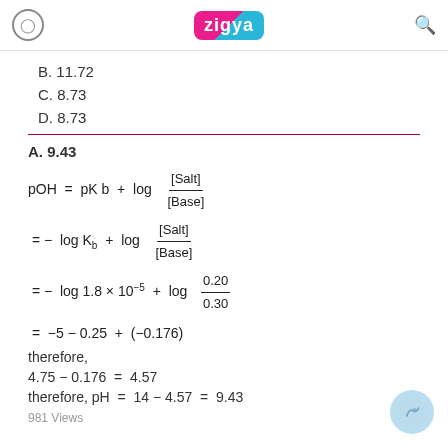Zigya
B. 11.72
C. 8.73
D. 8.73
A. 9.43
therefore,
4.75 − 0.176 = 4.57
therefore, pH = 14 − 4.57 = 9.43
981 Views